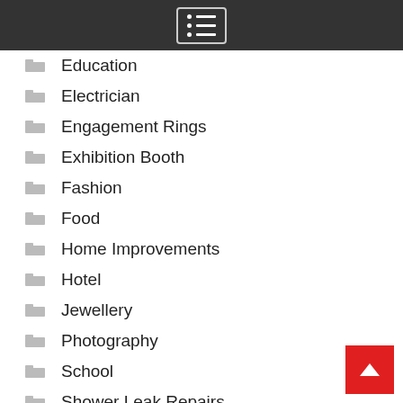menu
Education
Electrician
Engagement Rings
Exhibition Booth
Fashion
Food
Home Improvements
Hotel
Jewellery
Photography
School
Shower Leak Repairs
Technology